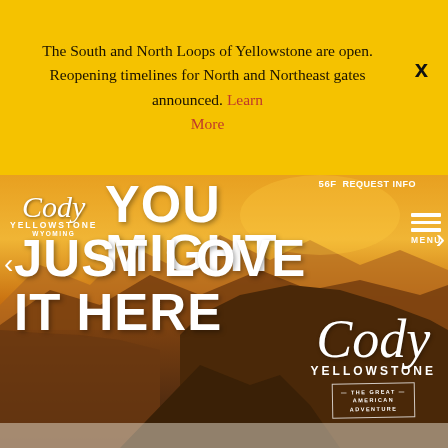The South and North Loops of Yellowstone are open. Reopening timelines for North and Northeast gates announced. Learn More
[Figure (screenshot): Cody Yellowstone Wyoming tourism website hero image showing dramatic landscape with warm orange/brown tones. Features navigation with left/right arrows, temperature display, REQUEST INFO, MENU button. Large bold white text reads YOU MIGHT JUST LOVE IT HERE. Cody Yellowstone logo appears top-left and bottom-right with The Great American Adventure badge.]